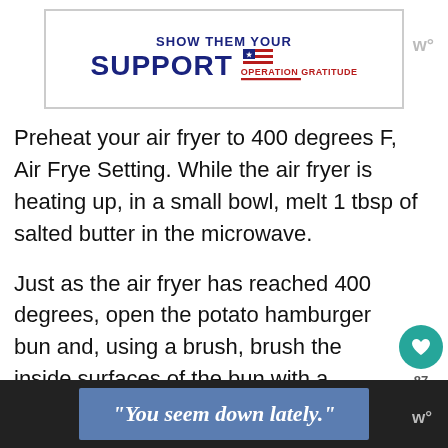[Figure (other): Advertisement banner showing 'SHOW THEM YOUR SUPPORT' with Operation Gratitude logo and American flag stars/stripes motif]
Preheat your air fryer to 400 degrees F, Air Frye Setting. While the air fryer is heating up, in a small bowl, melt 1 tbsp of salted butter in the microwave.
Just as the air fryer has reached 400 degrees, open the potato hamburger bun and, using a brush, brush the inside surfaces of the bun with a light coating of the melted butter.
[Figure (other): Bottom advertisement banner on dark background showing text: "You seem down lately."]